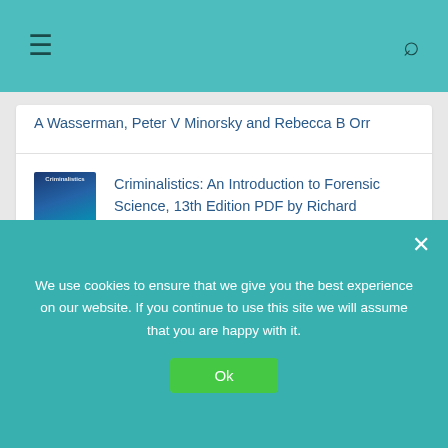≡  [search icon]
A Wasserman, Peter V Minorsky and Rebecca B Orr
Criminalistics: An Introduction to Forensic Science, 13th Edition PDF by Richard Saferstein and Tiffany Roy
Recent Added Books!
We use cookies to ensure that we give you the best experience on our website. If you continue to use this site we will assume that you are happy with it.